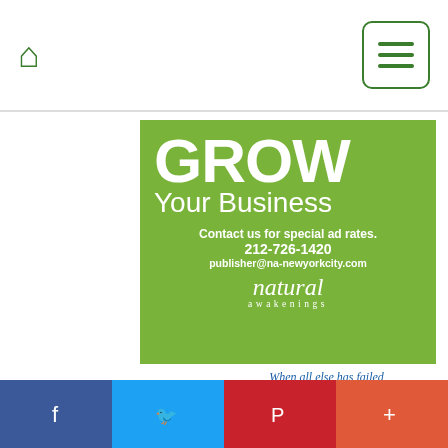Home | Menu
[Figure (infographic): Green advertisement banner for Natural Awakenings: GROW Your Business. Contact us for special ad rates. 212-726-1420. publisher@na-newyorkcity.com. natural awakenings logo.]
[Figure (infographic): When all else has failed, DIV OZONE THERAPY may be your only hope and the answer! Dr. Howard Robins has been helping people using Ozone Therapy for over 30 years and is considered by many to be the foremost clinical expert in North America on]
Facebook | Twitter | Pinterest | Plus